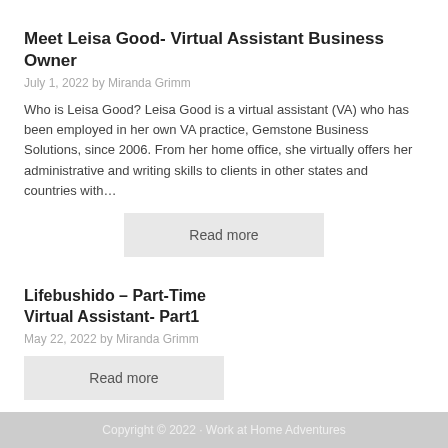Meet Leisa Good- Virtual Assistant Business Owner
July 1, 2022 by Miranda Grimm
Who is Leisa Good? Leisa Good is a virtual assistant (VA) who has been employed in her own VA practice, Gemstone Business Solutions, since 2006. From her home office, she virtually offers her administrative and writing skills to clients in other states and countries with…
Read more
Lifebushido – Part-Time Virtual Assistant- Part1
May 22, 2022 by Miranda Grimm
Read more
Copyright © 2022 · Work at Home Adventures